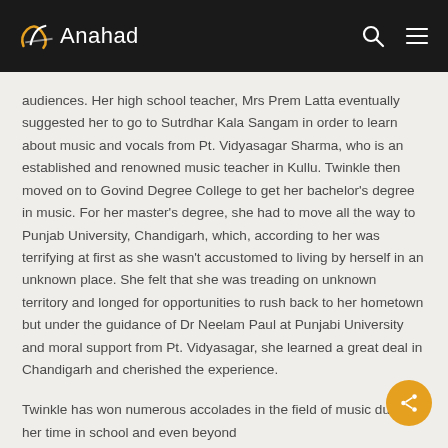Anahad
audiences. Her high school teacher, Mrs Prem Latta eventually suggested her to go to Sutrdhar Kala Sangam in order to learn about music and vocals from Pt. Vidyasagar Sharma, who is an established and renowned music teacher in Kullu. Twinkle then moved on to Govind Degree College to get her bachelor's degree in music. For her master's degree, she had to move all the way to Punjab University, Chandigarh, which, according to her was terrifying at first as she wasn't accustomed to living by herself in an unknown place. She felt that she was treading on unknown territory and longed for opportunities to rush back to her hometown but under the guidance of Dr Neelam Paul at Punjabi University and moral support from Pt. Vidyasagar, she learned a great deal in Chandigarh and cherished the experience.
Twinkle has won numerous accolades in the field of music during her time in school and even beyond